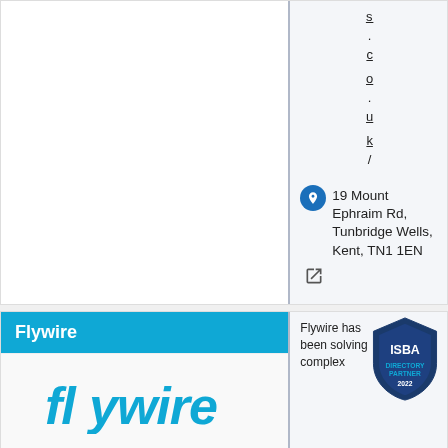s.co.uk/
19 Mount Ephraim Rd, Tunbridge Wells, Kent, TN1 1EN
[Figure (infographic): ISBA Directory Partner 2022 badge/shield logo]
Flywire
[Figure (logo): Flywire company logo in blue italic text]
Flywire has been solving complex